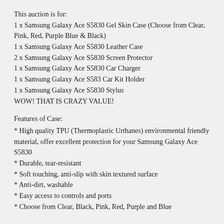This auction is for:
1 x Samsung Galaxy Ace S5830 Gel Skin Case (Choose from Clear, Pink, Red, Purple Blue & Black)
1 x Samsung Galaxy Ace S5830 Leather Case
2 x Samsung Galaxy Ace S5830 Screen Protector
1 x Samsung Galaxy Ace S5830 Car Charger
1 x Samsung Galaxy Ace S583 Car Kit Holder
1 x Samsung Galaxy Ace S5830 Stylus
WOW! THAT IS CRAZY VALUE!
Features of Case:
* High quality TPU (Thermoplastic Urthanes) environmental friendly material, offer excellent protection for your Samsung Galaxy Ace S5830
* Durable, tear-resistant
* Soft touching, anti-slip with skin textured surface
* Anti-dirt, washable
* Easy access to controls and ports
* Choose from Clear, Black, Pink, Red, Purple and Blue